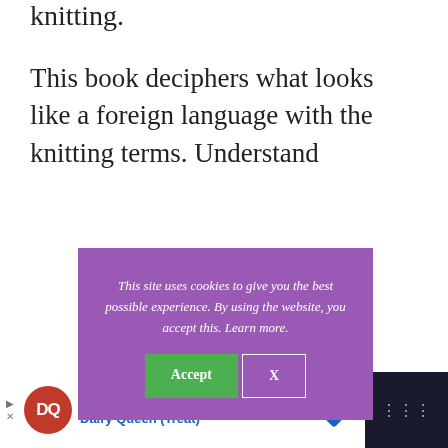knitting.
This book deciphers what looks like a foreign language with the knitting terms. Understand
[Figure (screenshot): Cookie consent overlay with purple background. Text reads: 'This site uses cookies to give you the best possible experience. By using the website, you accept this. Learn more.' Two buttons: green 'Accept' button and white-outlined 'X' button.]
Also, discover Elizabeth's Percentage System (EPS) for
[Figure (screenshot): Advertisement banner for Dairy Queen 'Try Reese's Take 5 Blizzard®' with DQ logo in red circle, blue diamond icon, and dark right section.]